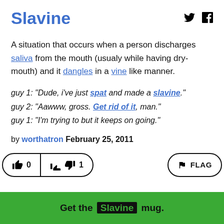Slavine
A situation that occurs when a person discharges saliva from the mouth (usualy while having dry-mouth) and it dangles in a vine like manner.
guy 1: "Dude, i've just spat and made a slavine."
guy 2: "Aawww, gross. Get rid of it, man."
guy 1: "I'm trying to but it keeps on going."
by worthatron February 25, 2011
[Figure (infographic): Thumbs up vote button showing 0, thumbs down vote button showing 1, and a FLAG button on the right]
Get the Slavine mug.